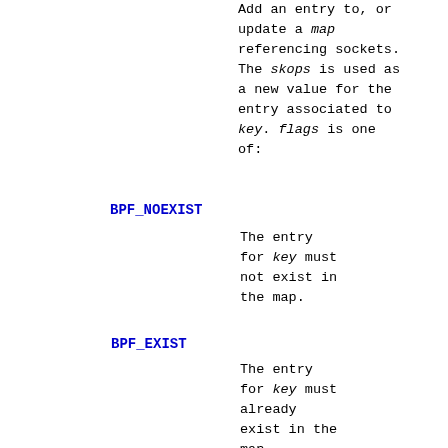Add an entry to, or update a map referencing sockets. The skops is used as a new value for the entry associated to key. flags is one of:
BPF_NOEXIST   The entry for key must not exist in the map.
BPF_EXIST   The entry for key must already exist in the map.
BPF_ANY   No condition on the